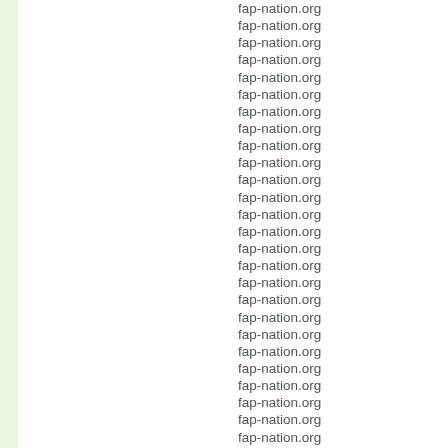fap-nation.org
fap-nation.org
fap-nation.org
fap-nation.org
fap-nation.org
fap-nation.org
fap-nation.org
fap-nation.org
fap-nation.org
fap-nation.org
fap-nation.org
fap-nation.org
fap-nation.org
fap-nation.org
fap-nation.org
fap-nation.org
fap-nation.org
fap-nation.org
fap-nation.org
fap-nation.org
fap-nation.org
fap-nation.org
fap-nation.org
fap-nation.org
fap-nation.org
fap-nation.org
fap-nation.org
fap-nation.org
fap-nation.org
fap-nation.org
fap-nation.org
fap-nation.org
fap-nation.org